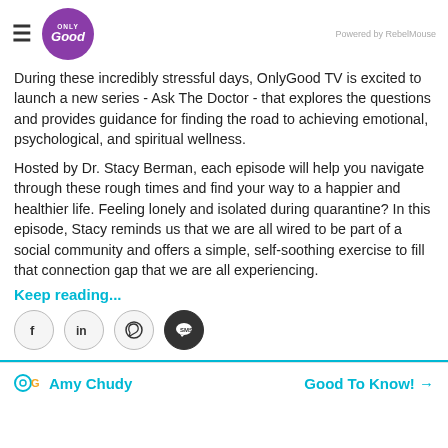Only Good TV logo | Powered by RebelMouse
During these incredibly stressful days, OnlyGood TV is excited to launch a new series - Ask The Doctor - that explores the questions and provides guidance for finding the road to achieving emotional, psychological, and spiritual wellness.
Hosted by Dr. Stacy Berman, each episode will help you navigate through these rough times and find your way to a happier and healthier life. Feeling lonely and isolated during quarantine? In this episode, Stacy reminds us that we are all wired to be part of a social community and offers a simple, self-soothing exercise to fill that connection gap that we are all experiencing.
Keep reading...
[Figure (other): Social sharing icons: Facebook, LinkedIn, WhatsApp, SMS]
Amy Chudy | Good To Know! →